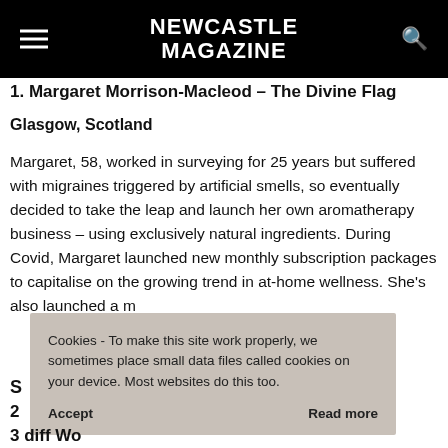NEWCASTLE MAGAZINE
1. Margaret Morrison-Macleod – The Divine Flag
Glasgow, Scotland
Margaret, 58, worked in surveying for 25 years but suffered with migraines triggered by artificial smells, so eventually decided to take the leap and launch her own aromatherapy business – using exclusively natural ingredients. During Covid, Margaret launched new monthly subscription packages to capitalise on the growing trend in at-home wellness. She's also launched a m
Cookies - To make this site work properly, we sometimes place small data files called cookies on your device. Most websites do this too.

Accept    Read more
S
2
3 diff Wo